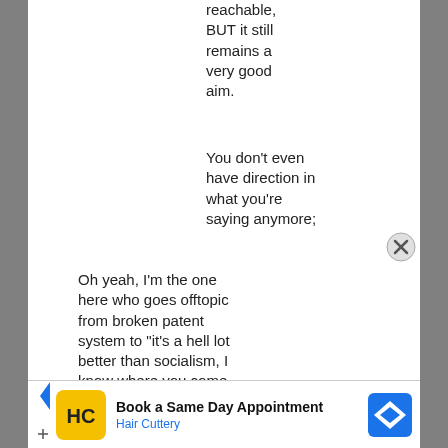reachable, BUT it still remains a very good aim.
You don't even have direction in what you're saying anymore;
Oh yeah, I'm the one here who goes offtopic from broken patent system to "it's a hell lot better than socialism, I know where you come from (huh? Since when do we know each other a sing
[Figure (infographic): Hair Cuttery advertisement banner: Book a Same Day Appointment, Hair Cuttery, with yellow HC logo and blue navigation arrow icon]